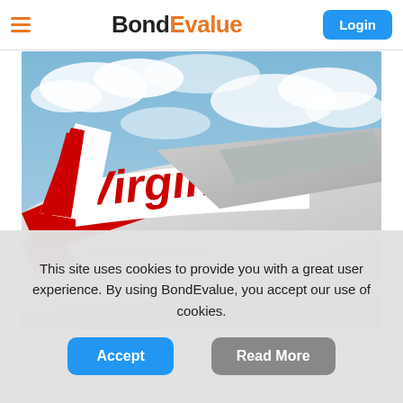BondEvalue — Login
[Figure (photo): Close-up photograph of the tail fin and wing tip of a Virgin Australia aircraft showing the red 'Virgin' script lettering on a white fuselage against a cloudy blue sky]
This site uses cookies to provide you with a great user experience. By using BondEvalue, you accept our use of cookies.